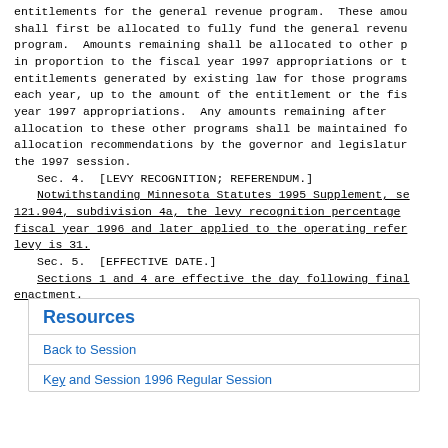entitlements for the general revenue program. These amounts shall first be allocated to fully fund the general revenue program. Amounts remaining shall be allocated to other programs in proportion to the fiscal year 1997 appropriations or the entitlements generated by existing law for those programs each year, up to the amount of the entitlement or the fiscal year 1997 appropriations. Any amounts remaining after allocation to these other programs shall be maintained for allocation recommendations by the governor and legislature the 1997 session.
Sec. 4. [LEVY RECOGNITION; REFERENDUM.]
Notwithstanding Minnesota Statutes 1995 Supplement, section 121.904, subdivision 4a, the levy recognition percentage for fiscal year 1996 and later applied to the operating referendum levy is 31.
Sec. 5. [EFFECTIVE DATE.]
Sections 1 and 4 are effective the day following final enactment.
Presented to the governor March 30, 1996
Signed by the governor April 3, 1996, 3:40 p.m.
Resources
Back to Session